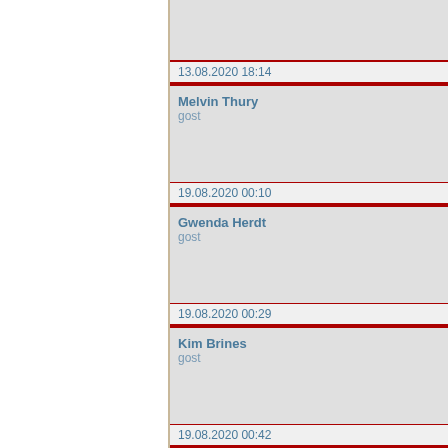| Timestamp | User |
| --- | --- |
| 13.08.2020 18:14 | Melvin Thury
gost |
| 19.08.2020 00:10 | Gwenda Herdt
gost |
| 19.08.2020 00:29 | Kim Brines
gost |
| 19.08.2020 00:42 | Refugio Friedl
gost |
| 19.08.2020 00:49 |  |